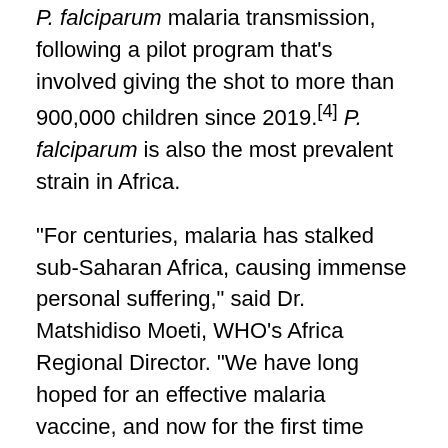P. falciparum malaria transmission, following a pilot program that's involved giving the shot to more than 900,000 children since 2019.[4] P. falciparum is also the most prevalent strain in Africa.
“For centuries, malaria has stalked sub-Saharan Africa, causing immense personal suffering,” said Dr. Matshidiso Moeti, WHO’s Africa Regional Director. “We have long hoped for an effective malaria vaccine, and now for the first time ever, we have such a vaccine.”[5]
The breakthrough offers “a glimmer of hope” for the continent that “shoulders the heaviest